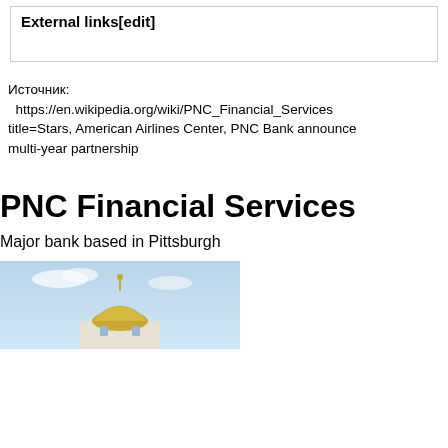External links[edit]
Источник: https://en.wikipedia.org/wiki/PNC_Financial_Services title=Stars, American Airlines Center, PNC Bank announce multi-year partnership
PNC Financial Services
Major bank based in Pittsburgh
[Figure (photo): Photo of a building with a golden dome against a light blue sky with clouds]